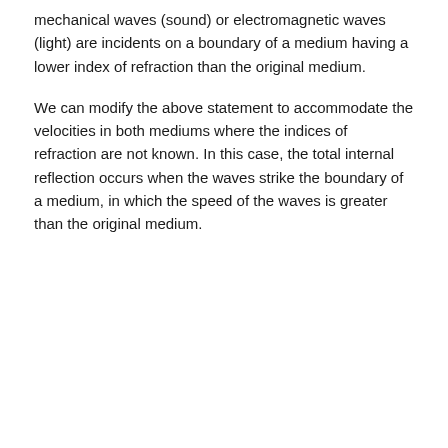mechanical waves (sound) or electromagnetic waves (light) are incidents on a boundary of a medium having a lower index of refraction than the original medium.
We can modify the above statement to accommodate the velocities in both mediums where the indices of refraction are not known. In this case, the total internal reflection occurs when the waves strike the boundary of a medium, in which the speed of the waves is greater than the original medium.